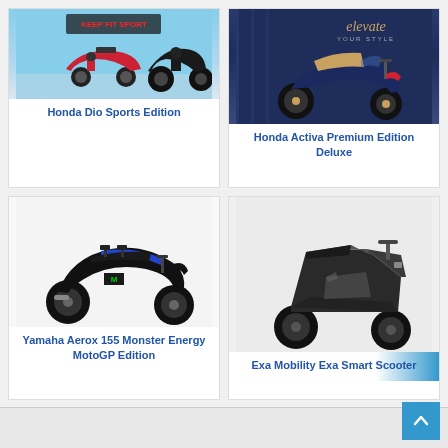[Figure (photo): Honda Dio Sports Edition scooter promotional image with blue sky background]
Honda Dio Sports Edition
[Figure (photo): Honda Activa Premium Edition Deluxe scooter on dark blue background with 'elevate your style' text]
Honda Activa Premium Edition Deluxe
[Figure (photo): Yamaha Aerox 155 Monster Energy MotoGP Edition scooter on white background]
Yamaha Aerox 155 Monster Energy MotoGP Edition
[Figure (photo): Exa Mobility Exa Smart Scooter futuristic electric scooter on light background]
Exa Mobility Exa Smart Scooter